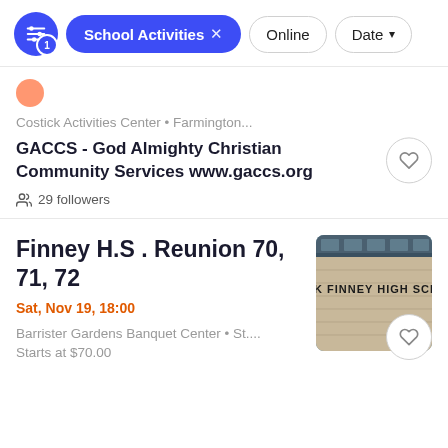[Figure (screenshot): Filter bar with blue filter icon with badge '1', active pill 'School Activities' with x, outline pills 'Online' and 'Date' with dropdown caret]
Costick Activities Center • Farmington...
GACCS - God Almighty Christian Community Services www.gaccs.org
29 followers
Finney H.S . Reunion 70, 71, 72
Sat, Nov 19, 18:00
Barrister Gardens Banquet Center • St....
Starts at $70.00
[Figure (photo): Photo of Finney High School building exterior with tan brick wall and text 'FINNEY HIGH SCHO' visible]